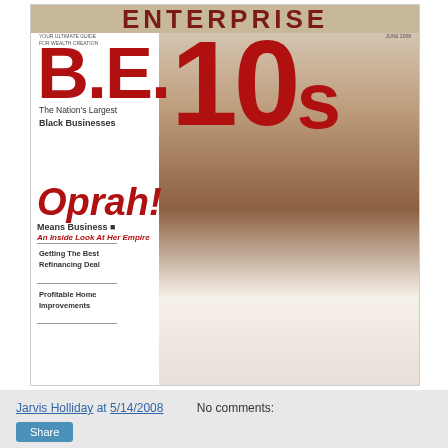[Figure (photo): Cover of Black Enterprise magazine, B.E. 100s issue, June 2008. Features Oprah Winfrey in a white suit on the cover with the headline 'Oprah! Means Business — An Inside Look At Her Empire'. Additional cover lines: 'Getting The Best Refinancing Deal' and 'Profitable Home Improvements'. The masthead reads 'ENTERPRISE' at the top.]
Jarvis Holliday at 5/14/2008   No comments:
Share